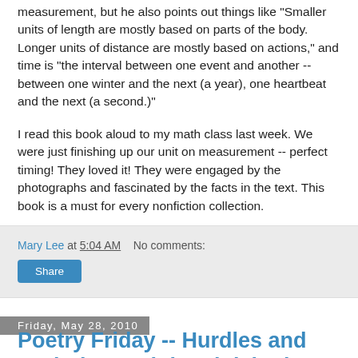measurement, but he also points out things like "Smaller units of length are mostly based on parts of the body. Longer units of distance are mostly based on actions," and time is "the interval between one event and another -- between one winter and the next (a year), one heartbeat and the next (a second.)"
I read this book aloud to my math class last week. We were just finishing up our unit on measurement -- perfect timing! They loved it! They were engaged by the photographs and fascinated by the facts in the text. This book is a must for every nonfiction collection.
Mary Lee at 5:04 AM   No comments:
Share
Friday, May 28, 2010
Poetry Friday -- Hurdles and Sprinting and the Finish Line